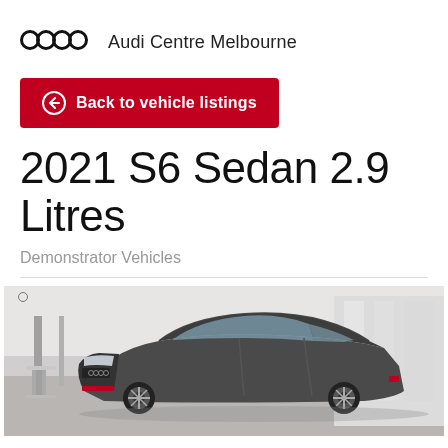Audi Centre Melbourne
Back to vehicle listings
2021 S6 Sedan 2.9 Litres
Demonstrator Vehicles
[Figure (photo): Dark grey Audi S6 Sedan photographed inside a dealership showroom, front three-quarter view showing the hood, front grille, and side profile. The vehicle is dark metallic grey. Showroom interior visible in background.]